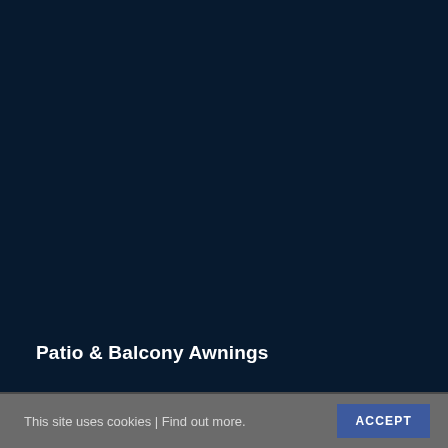[Figure (photo): Dark navy blue background image, likely a patio or balcony awning product photo, mostly obscured by dark overlay.]
Patio & Balcony Awnings
This site uses cookies | Find out more.
ACCEPT